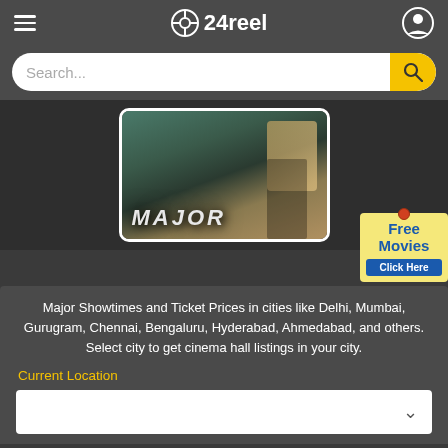24reel
Search...
[Figure (screenshot): Movie poster for MAJOR showing a soldier in armour with dramatic lighting]
[Figure (infographic): Free Movies - Click Here sticker/button on yellow background]
Major Showtimes and Ticket Prices in cities like Delhi, Mumbai, Gurugram, Chennai, Bengaluru, Hyderabad, Ahmedabad, and others. Select city to get cinema hall listings in your city.
Current Location